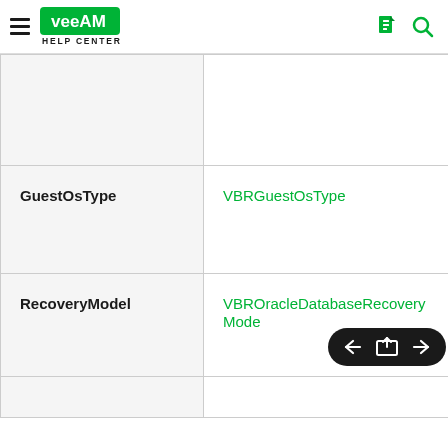Veeam Help Center
|  |  |
| GuestOsType | VBRGuestOsType |
| RecoveryModel | VBROracleDatabaseRecoveryMode |
|  |  |